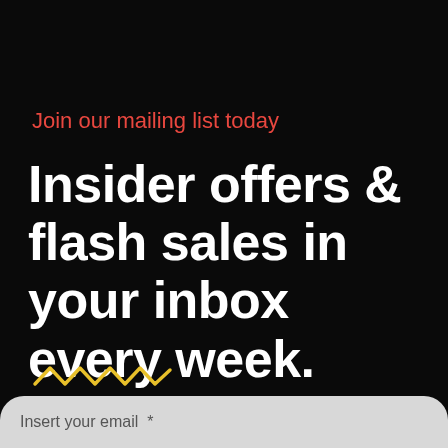Join our mailing list today
Insider offers & flash sales in your inbox every week.
[Figure (illustration): Yellow wavy squiggle decorative line]
Insert your email *